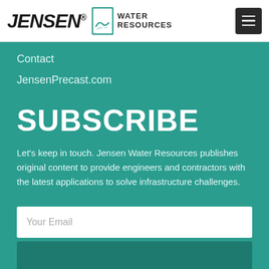JENSEN Water Resources
Contact
JensenPrecast.com
SUBSCRIBE
Let's keep in touch. Jensen Water Resources publishes original content to provide engineers and contractors with the latest applications to solve infrastructure challenges.
Your Email